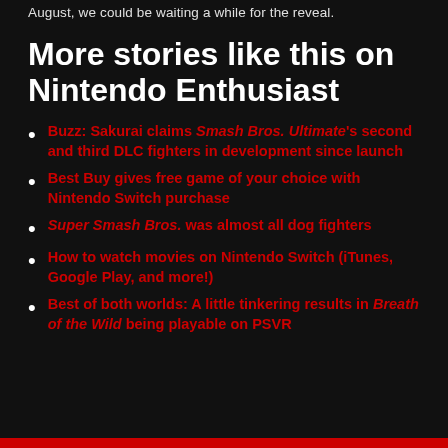August, we could be waiting a while for the reveal.
More stories like this on Nintendo Enthusiast
Buzz: Sakurai claims Smash Bros. Ultimate's second and third DLC fighters in development since launch
Best Buy gives free game of your choice with Nintendo Switch purchase
Super Smash Bros. was almost all dog fighters
How to watch movies on Nintendo Switch (iTunes, Google Play, and more!)
Best of both worlds: A little tinkering results in Breath of the Wild being playable on PSVR